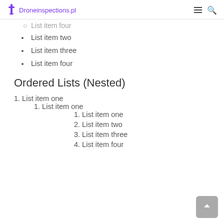Droneinspections.pl
List item four (partial, clipped at top)
List item two
List item three
List item four
Ordered Lists (Nested)
1. List item one
1. List item one (nested level 2)
1. List item one (nested level 3)
2. List item two
3. List item three
4. List item four